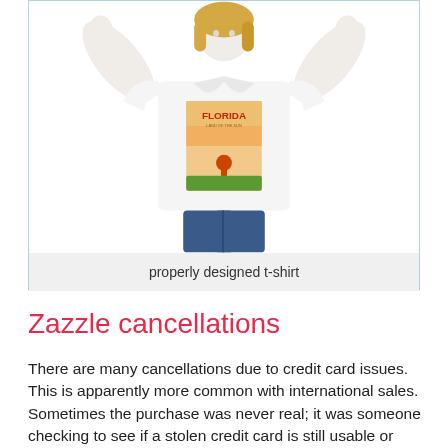[Figure (photo): Woman wearing a white t-shirt with a Florida vintage travel poster design, arms raised, against a white background]
properly designed t-shirt
Zazzle cancellations
There are many cancellations due to credit card issues. This is apparently more common with international sales. Sometimes the purchase was never real; it was someone checking to see if a stolen credit card is still usable or what the limit is.